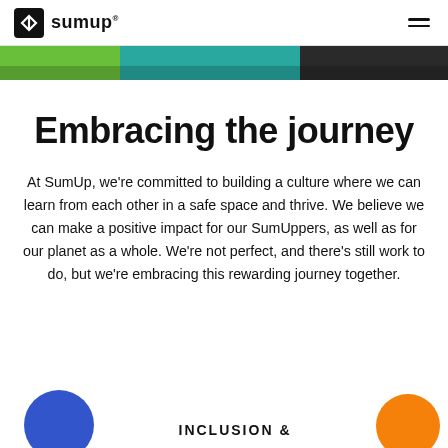sumup®
[Figure (photo): A partial photo strip showing colorful background (green, teal, dark) at the top of the page]
Embracing the journey
At SumUp, we're committed to building a culture where we can learn from each other in a safe space and thrive. We believe we can make a positive impact for our SumUppers, as well as for our planet as a whole. We're not perfect, and there's still work to do, but we're embracing this rewarding journey together.
INCLUSION &